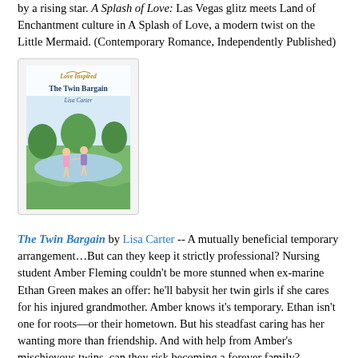by a rising star. A Splash of Love: Las Vegas glitz meets Land of Enchantment culture in A Splash of Love, a modern twist on the Little Mermaid. (Contemporary Romance, Independently Published)
[Figure (illustration): Book cover of 'The Twin Bargain' by Lisa Carter, Love Inspired series. Shows two young girls running in a field near water.]
The Twin Bargain by Lisa Carter -- A mutually beneficial temporary arrangement…But can they keep it strictly professional? Nursing student Amber Fleming couldn't be more stunned when ex-marine Ethan Green makes an offer: he'll babysit her twin girls if she cares for his injured grandmother. Amber knows it's temporary. Ethan isn't one for roots—or their hometown. But his steadfast caring has her wanting more than friendship. And with help from Amber's mischievous twins, can they risk becoming a forever family? (Contemporary Romance from Love Inspired [Harlequin])